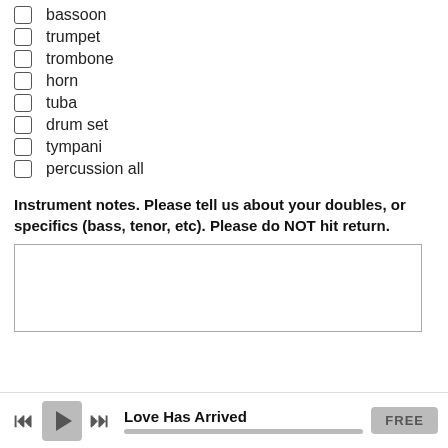bassoon
trumpet
trombone
horn
tuba
drum set
tympani
percussion all
Instrument notes. Please tell us about your doubles, or specifics (bass, tenor, etc). Please do NOT hit return.
[Figure (other): Empty text input box for instrument notes]
Love Has Arrived